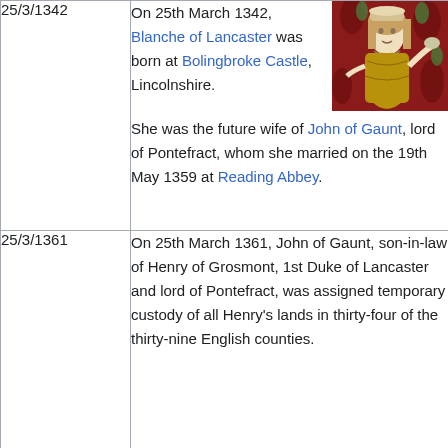| Date | Event |
| --- | --- |
| 25/3/1342 | On 25th March 1342, Blanche of Lancaster was born at Bolingbroke Castle, Lincolnshire. She was the future wife of John of Gaunt, lord of Pontefract, whom she married on the 19th May 1359 at Reading Abbey. |
| 25/3/1361 | On 25th March 1361, John of Gaunt, son-in-law of Henry of Grosmont, 1st Duke of Lancaster and lord of Pontefract, was assigned temporary custody of all Henry's lands in thirty-four of the thirty-nine English counties. |